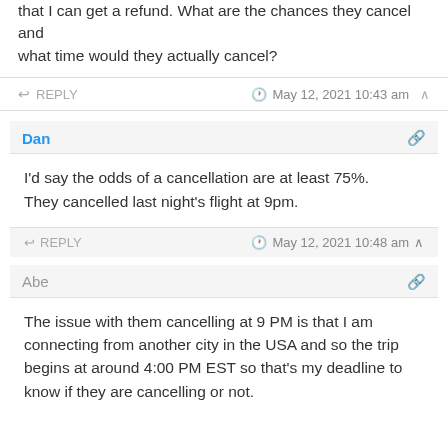that I can get a refund. What are the chances they cancel and what time would they actually cancel?
REPLY   May 12, 2021 10:43 am
Dan
I'd say the odds of a cancellation are at least 75%. They cancelled last night's flight at 9pm.
REPLY   May 12, 2021 10:48 am
Abe
The issue with them cancelling at 9 PM is that I am connecting from another city in the USA and so the trip begins at around 4:00 PM EST so that's my deadline to know if they are cancelling or not.